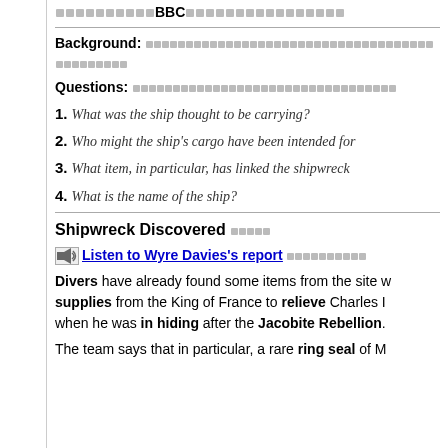□□□□□□□□□□BBC□□□□□□□□□□□□□□□□□□
Background: □□□□□□□□□□□□□□□□□□□□□□□□□□□□□□□□□□□□□□□□□□□□□
Questions: □□□□□□□□□□□□□□□□□□□□□□□□□□□□□□□□□
1. What was the ship thought to be carrying?
2. Who might the ship's cargo have been intended for
3. What item, in particular, has linked the shipwreck
4. What is the name of the ship?
Shipwreck Discovered □□□□□
Listen to Wyre Davies's report □□□□□□□□□□
Divers have already found some items from the site supplies from the King of France to relieve Charles when he was in hiding after the Jacobite Rebellion.
The team says that in particular, a rare ring seal of M